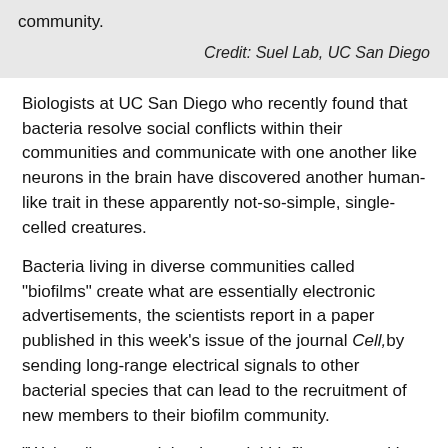community.
Credit: Suel Lab, UC San Diego
Biologists at UC San Diego who recently found that bacteria resolve social conflicts within their communities and communicate with one another like neurons in the brain have discovered another human-like trait in these apparently not-so-simple, single-celled creatures.
Bacteria living in diverse communities called "biofilms" create what are essentially electronic advertisements, the scientists report in a paper published in this week's issue of the journal Cell, by sending long-range electrical signals to other bacterial species that can lead to the recruitment of new members to their biofilm community.
"We've discovered that bacterial biofilm communities can actively modulate the motile behavior of diverse bacterial species through electrical signals," said Gürol Süel, a